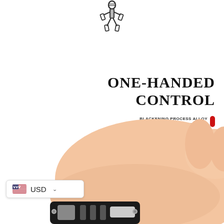[Figure (illustration): Stick figure icon made of screws/bolts at the top center of the page]
ONE-HANDED CONTROL
BLACKENING PROCESS ALLOY STEEL IS HARDER BY QUENCHING
[Figure (photo): A hand holding a black and silver mechanical tool/clamp product, shown from below with the palm facing up]
USD